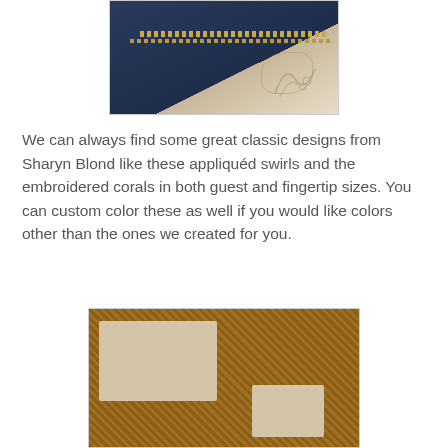[Figure (photo): Photograph of a dark navy blue fabric with a decorative zipper or embellishment line near the top, laid over a cream/ivory fabric with embroidered floral or coral design]
We can always find some great classic designs from Sharyn Blond like these appliquéd swirls and the embroidered corals in both guest and fingertip sizes. You can custom color these as well if you would like colors other than the ones we created for you.
[Figure (photo): Photograph of a woven jute or sisal textured fabric in golden brown color with two rectangular linen or beige fabric swatches placed on top — one larger on the left and one smaller on the lower right]